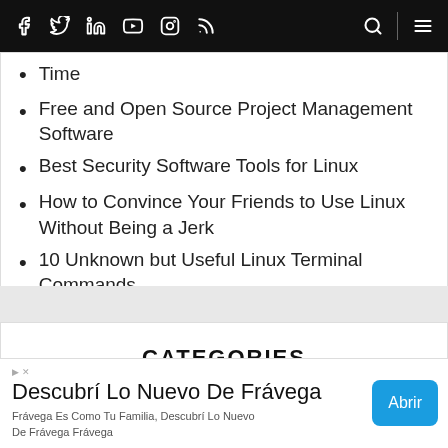Navigation bar with social icons: Facebook, Twitter, LinkedIn, YouTube, Instagram, RSS, Search, Menu
Time
Free and Open Source Project Management Software
Best Security Software Tools for Linux
How to Convince Your Friends to Use Linux Without Being a Jerk
10 Unknown but Useful Linux Terminal Commands
CATEGORIES
ANDROID (273)  APPLE (02)
Descubrí Lo Nuevo De Frávega
Frávega Es Como Tu Familia, Descubrí Lo Nuevo De Frávega Frávega